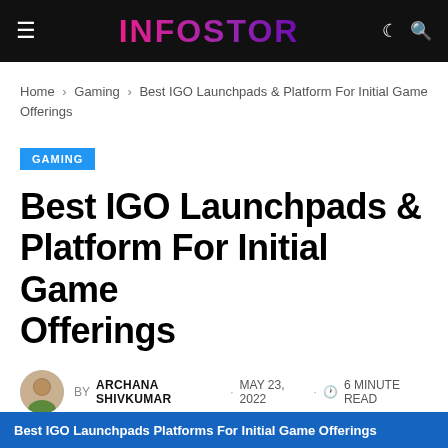INFOSTOR
Home > Gaming > Best IGO Launchpads & Platform For Initial Game Offerings
GAMING
Best IGO Launchpads & Platform For Initial Game Offerings
BY ARCHANA SHIVKUMAR · MAY 23, 2022 · 6 MINUTE READ
Best IGO Launchpads Platforms For Initial Game Offerings